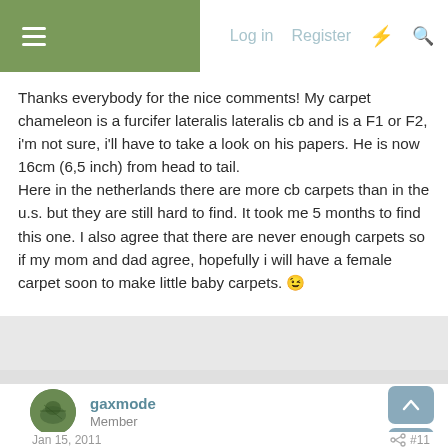Log in  Register
Thanks everybody for the nice comments! My carpet chameleon is a furcifer lateralis lateralis cb and is a F1 or F2, i'm not sure, i'll have to take a look on his papers. He is now 16cm (6,5 inch) from head to tail.
Here in the netherlands there are more cb carpets than in the u.s. but they are still hard to find. It took me 5 months to find this one. I also agree that there are never enough carpets so if my mom and dad agree, hopefully i will have a female carpet soon to make little baby carpets. 😉
gaxmode
Member
Jan 15, 2011
#11